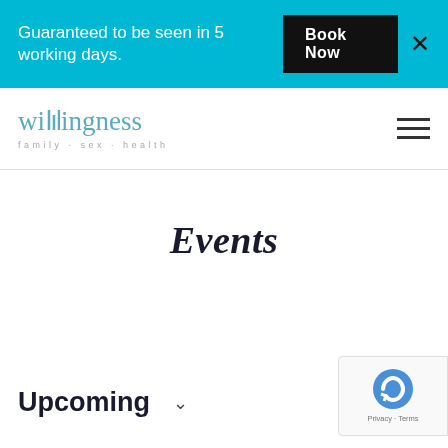Guaranteed to be seen in 5 working days.
Book Now
[Figure (logo): Willingness logo with tagline 'family · sex · health']
Events
Upcoming
[Figure (other): Google reCAPTCHA badge with Privacy and Terms links]